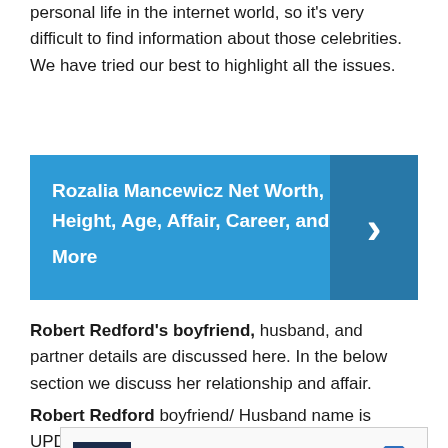personal life in the internet world, so it's very difficult to find information about those celebrities. We have tried our best to highlight all the issues.
[Figure (infographic): Blue banner with white bold text reading 'Rozalia Mancewicz Net Worth, Height, Age, Affair, Career, and More' with a right-facing arrow chevron on a darker blue right panel]
Robert Redford's boyfriend, husband, and partner details are discussed here. In the below section we discuss her relationship and affair.
Robert Redford boyfriend/ Husband name is UPDATE SOON.
[Figure (screenshot): Advertisement banner for a store showing 'cm' logo, checkmarks for In-store shopping, Curbside pickup, Delivery, and a blue diamond arrow icon, with play and close controls below]